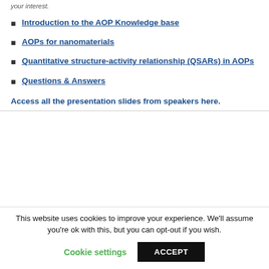your interest.
Introduction to the AOP Knowledge base
AOPs for nanomaterials
Quantitative structure-activity relationship (QSARs) in AOPs
Questions & Answers
Access all the presentation slides from speakers here.
This website uses cookies to improve your experience. We'll assume you're ok with this, but you can opt-out if you wish.
Cookie settings | ACCEPT